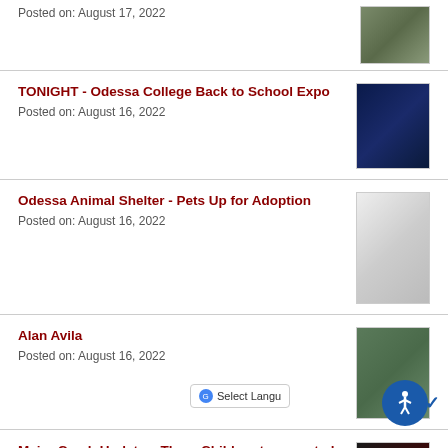Posted on: August 17, 2022
[Figure (photo): Close-up photo of a tabby cat]
TONIGHT - Odessa College Back to School Expo
Posted on: August 16, 2022
[Figure (photo): Odessa College Back to School promotional banner image]
Odessa Animal Shelter - Pets Up for Adoption
Posted on: August 16, 2022
[Figure (photo): Grid of animal photos from the shelter]
Alan Avila
Posted on: August 16, 2022
[Figure (photo): Photo of Alan Avila standing outdoors]
Major Crash Update – Three Children transported in Critical Condition
Posted on: August 16, 2022
[Figure (photo): Crash scene photo at night]